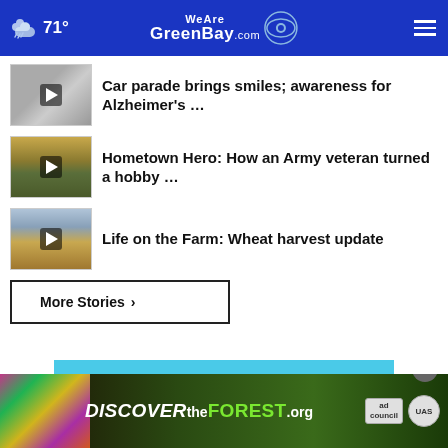71° WeAreGreenBay.com
Car parade brings smiles; awareness for Alzheimer's …
Hometown Hero: How an Army veteran turned a hobby …
Life on the Farm: Wheat harvest update
More Stories ›
[Figure (screenshot): Advertisement banner: DISCOVERtheFOREST.org with Ad Council and US Forest Service logos]